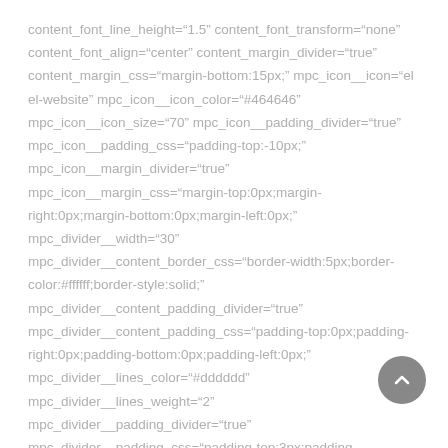content_font_line_height="1.5" content_font_transform="none" content_font_align="center" content_margin_divider="true" content_margin_css="margin-bottom:15px;" mpc_icon__icon="el el-website" mpc_icon__icon_color="#464646" mpc_icon__icon_size="70" mpc_icon__padding_divider="true" mpc_icon__padding_css="padding-top:-10px;" mpc_icon__margin_divider="true" mpc_icon__margin_css="margin-top:0px;margin-right:0px;margin-bottom:0px;margin-left:0px;" mpc_divider__width="30" mpc_divider__content_border_css="border-width:5px;border-color:#ffffff;border-style:solid;" mpc_divider__content_padding_divider="true" mpc_divider__content_padding_css="padding-top:0px;padding-right:0px;padding-bottom:0px;padding-left:0px;" mpc_divider__lines_color="#dddddd" mpc_divider__lines_weight="2" mpc_divider__padding_divider="true" mpc_divider__padding_css="padding-top:3px;padding-bottom:3px;"]Green juice master cleanse narwhal asymmetrical,